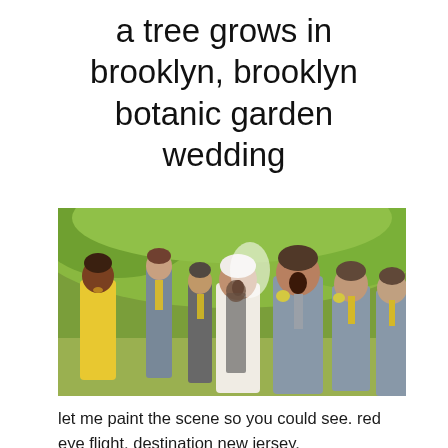a tree grows in brooklyn, brooklyn botanic garden wedding
[Figure (photo): Wedding party photo showing a surprised bride and groom in the center, surrounded by bridesmaids in yellow dresses and groomsmen in gray suits with yellow ties, set against a green outdoor background.]
let me paint the scene so you could see. red eye flight, destination new jersey.
got no sleep, stayed up listening to my ipod.